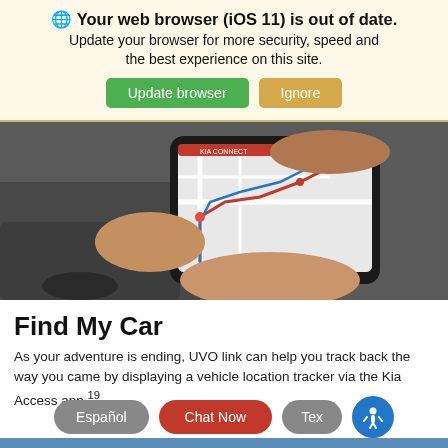🌐 Your web browser (iOS 11) is out of date. Update your browser for more security, speed and the best experience on this site.
Update browser | Ignore
[Figure (photo): Hands holding a smartphone displaying a map/navigation app, with a car visible in the blurred background.]
Find My Car
As your adventure is ending, UVO link can help you track back the way you came by displaying a vehicle location tracker via the Kia Access app.19
Español | Chat Now | Tex[t]